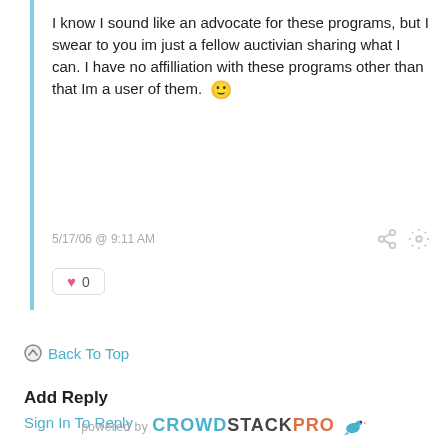I know I sound like an advocate for these programs, but I swear to you im just a fellow auctivian sharing what I can. I have no affilliation with these programs other than that Im a user of them. 🙂
5/17/06 @ 9:11 AM
0
↑ Back To Top
Add Reply
Sign In To Reply
powered by CROWDSTACKPRO